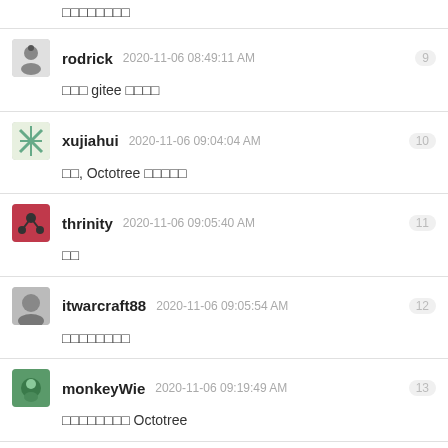□□□□□□□□
rodrick  2020-11-06 08:49:11 AM  9
□□□ gitee □□□□
xujiahui  2020-11-06 09:04:04 AM  10
□□, Octotree □□□□□
thrinity  2020-11-06 09:05:40 AM  11
□□
itwarcraft88  2020-11-06 09:05:54 AM  12
□□□□□□□□
monkeyWie  2020-11-06 09:19:49 AM  13
□□□□□□□□ Octotree
muayang  2020-11-06 09:25:32 AM via iPhone  14
□□□□
huage2580  2020-11-06 09:31:38 AM  15
Cannot connect to GitHub